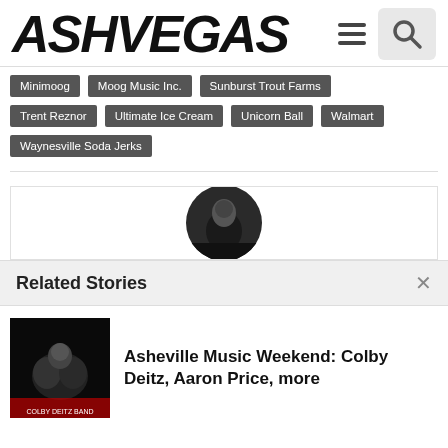ASHVEGAS
Minimoog
Moog Music Inc.
Sunburst Trout Farms
Trent Reznor
Ultimate Ice Cream
Unicorn Ball
Walmart
Waynesville Soda Jerks
[Figure (photo): Black and white circular cropped photo of a person]
Related Stories
[Figure (photo): Small thumbnail image of Colby Deitz band]
Asheville Music Weekend: Colby Deitz, Aaron Price, more